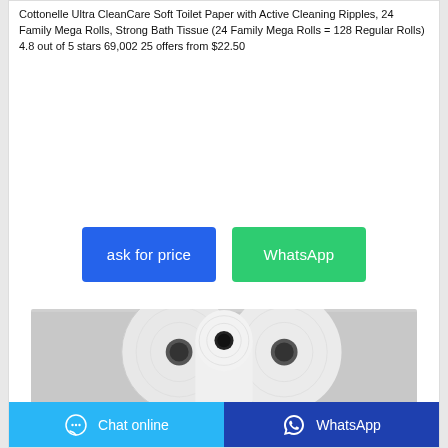Cottonelle Ultra CleanCare Soft Toilet Paper with Active Cleaning Ripples, 24 Family Mega Rolls, Strong Bath Tissue (24 Family Mega Rolls = 128 Regular Rolls) 4.8 out of 5 stars 69,002 25 offers from $22.50
[Figure (other): Two blue buttons side by side: 'ask for price' (blue) and 'WhatsApp' (green)]
[Figure (photo): Product photo of white toilet paper rolls stacked on a gray background]
Chat online   WhatsApp